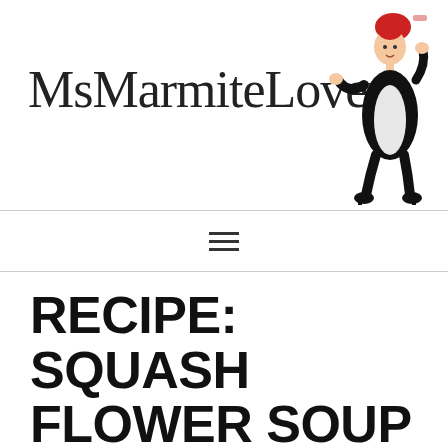[Figure (logo): MsMarmiteLover logo: text 'MsMarmiteLover' in serif font with an illustrated caricature of a woman chef in a black dress and apron holding up a cake, with red hair]
[Figure (infographic): Hamburger menu icon with three horizontal lines]
RECIPE: SQUASH FLOWER SOUP (SOPA DE FLOR DE CALABAZA)